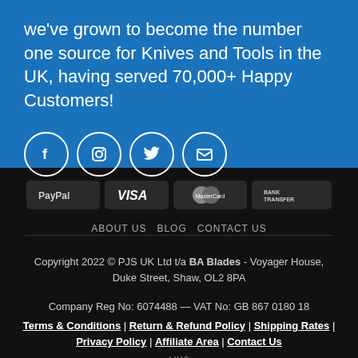we've grown to become the number one source for Knives and Tools in the UK, having served 70,000+ Happy Customers!
[Figure (illustration): Four circular social media icons: Facebook, Instagram, Twitter, and Email, shown as white outlines on blue background]
[Figure (illustration): Payment method badges: PayPal, VISA, MasterCard, Bank Transfer on dark rounded rectangles]
ABOUT US   BLOG   CONTACT US
Copyright 2022 © PJS UK Ltd t/a BA Blades - Voyager House, Duke Street, Shaw, OL2 8PA
Company Reg No: 6074488 — VAT No: GB 867 0180 18
Terms & Conditions | Return & Refund Policy | Shipping Rates | Privacy Policy | Affiliate Area | Contact Us
UK2